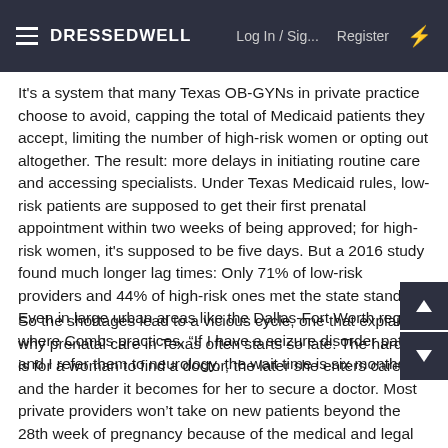DRESSEDWELL   Log In / Sig...   Register
It's a system that many Texas OB-GYNs in private practice choose to avoid, capping the total of Medicaid patients they accept, limiting the number of high-risk women or opting out altogether. The result: more delays in initiating routine care and accessing specialists. Under Texas Medicaid rules, low-risk patients are supposed to get their first prenatal appointment within two weeks of being approved; for high-risk women, it's supposed to be five days. But a 2016 study found much longer lag times: Only 71% of low-risk providers and 44% of high-risk ones met the state standard. Even in large urban areas like the Dallas-Fort Worth region, where Combs practices, “If I have a seizure disorder patient and I refer them to neurology, the wait time is six months.”
So the shortages lead to a vicious cycle, one that explains why prenatal care in Texas often starts so late: The harder it is for a woman to find a doctor, the later she enters care — and the harder it becomes for her to secure a doctor. Most private providers won’t take on new patients beyond the 28th week of pregnancy because of the medical and legal risks; some set the